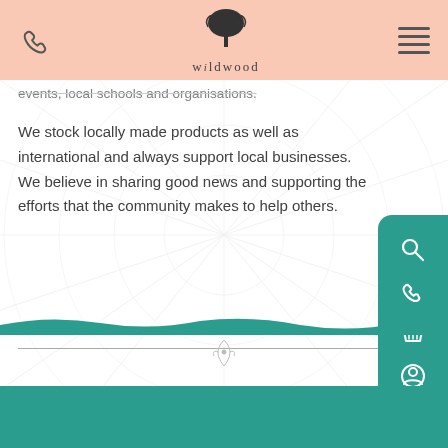Wildwood [phone icon] [menu icon]
events, local schools and organisations.
We stock locally made products as well as international and always support local businesses. We believe in sharing good news and supporting the efforts that the community makes to help others.
[Figure (other): Wildwood website screenshot showing header with logo, navigation icons, body text about local products and community, teal sidebar with search/phone/basket/profile icons, and teal footer band]